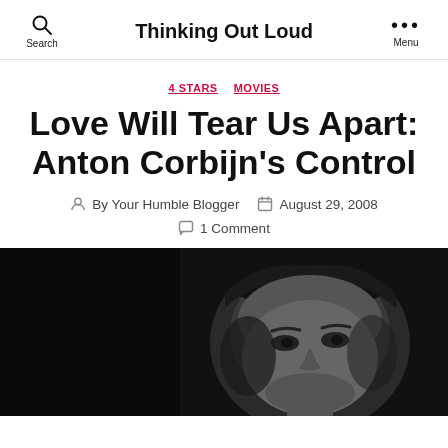Thinking Out Loud
4 STARS  MOVIES
Love Will Tear Us Apart: Anton Corbijn's Control
By Your Humble Blogger  August 29, 2008  1 Comment
[Figure (photo): Black and white close-up photo of a young man's face looking slightly upward, high contrast, dark background]